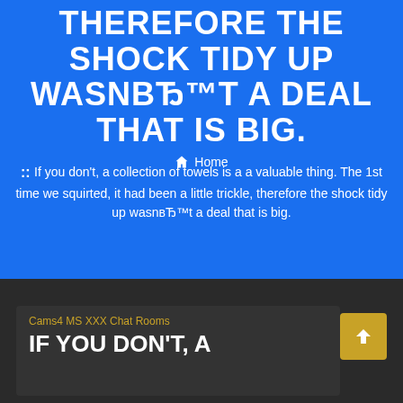THEREFORE THE SHOCK TIDY UP WASNвЂ™T A DEAL THAT IS BIG.
Home
:: If you don't, a collection of towels is a a valuable thing. The 1st time we squirted, it had been a little trickle, therefore the shock tidy up wasnвЂ™t a deal that is big.
Cams4 MS XXX Chat Rooms
IF YOU DON'T, A